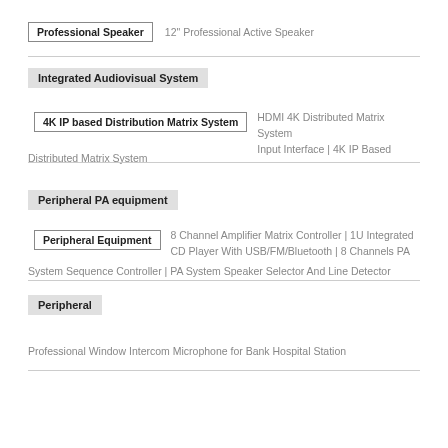Professional Speaker | 12" Professional Active Speaker
Integrated Audiovisual System
4K IP based Distribution Matrix System | HDMI 4K Distributed Matrix System Input Interface | 4K IP Based Distributed Matrix System
Peripheral PA equipment
Peripheral Equipment | 8 Channel Amplifier Matrix Controller | 1U Integrated CD Player With USB/FM/Bluetooth | 8 Channels PA System Sequence Controller | PA System Speaker Selector And Line Detector
Peripheral
Professional Window Intercom Microphone for Bank Hospital Station